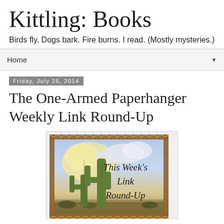Kittling: Books
Birds fly. Dogs bark. Fire burns. I read. (Mostly mysteries.)
Home ▼
Friday, July 25, 2014
The One-Armed Paperhanger Weekly Link Round-Up
[Figure (illustration): Desert scene with saguaro cacti under a cloudy sky, with decorative border. Text overlay reads: This Week's Link Round-Up]